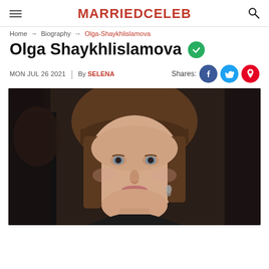MARRIEDCELEB
Home → Biography → Olga-Shaykhlislamova
Olga Shaykhlislamova
MON JUL 26 2021  |  By SELENA
Shares:
[Figure (photo): Portrait photo of Olga Shaykhlislamova, a woman with brown hair and bangs, wearing dark clothing, close-up face shot]